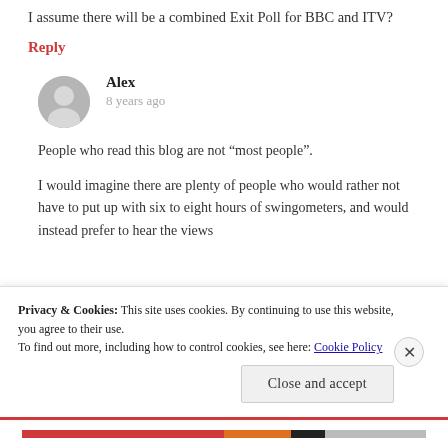I assume there will be a combined Exit Poll for BBC and ITV?
Reply
Alex
8 years ago
People who read this blog are not “most people”.
I would imagine there are plenty of people who would rather not have to put up with six to eight hours of swingometers, and would instead prefer to hear the views of...
Privacy & Cookies: This site uses cookies. By continuing to use this website, you agree to their use.
To find out more, including how to control cookies, see here: Cookie Policy
Close and accept